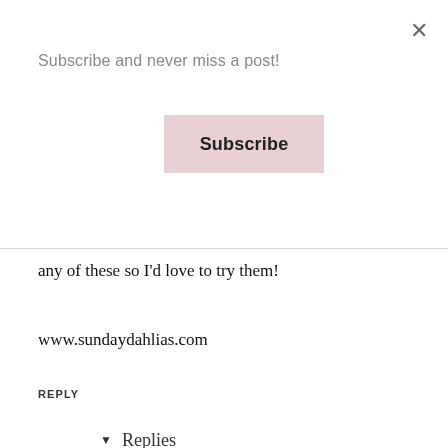Subscribe and never miss a post!
Subscribe
any of these so I'd love to try them!
www.sundaydahlias.com
REPLY
▾ Replies
NINA   AUGUST 05, 2019
[Figure (photo): Profile photo of commenter Nina]
Hopefully, you will like them too. xx